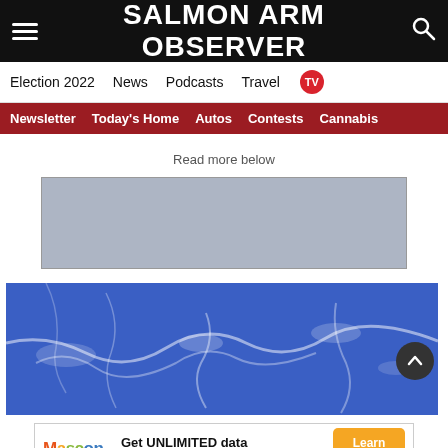SALMON ARM OBSERVER
Election 2022  News  Podcasts  Travel  TV
Newsletter  Today's Home  Autos  Contests  Cannabis
Read more below
[Figure (other): Grey advertisement placeholder box]
[Figure (photo): Aerial blue-toned photograph showing river or water channels through landscape]
[Figure (other): Mascon by TELUS advertisement banner: Get UNLIMITED data and save up to $410!* Learn More button]